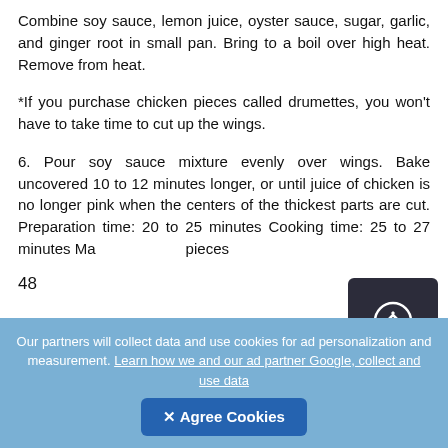Combine soy sauce, lemon juice, oyster sauce, sugar, garlic, and ginger root in small pan. Bring to a boil over high heat. Remove from heat.
*If you purchase chicken pieces called drumettes, you won't have to take time to cut up the wings.
6. Pour soy sauce mixture evenly over wings. Bake uncovered 10 to 12 minutes longer, or until juice of chicken is no longer pink when the centers of the thickest parts are cut. Preparation time: 20 to 25 minutes Cooking time: 25 to 27 minutes Ma... pieces
48
Our partners will collect data and use cookies for ad personalization and measurement. Learn how we and our ad partner Google, collect and use data
✕ Agree Cookies